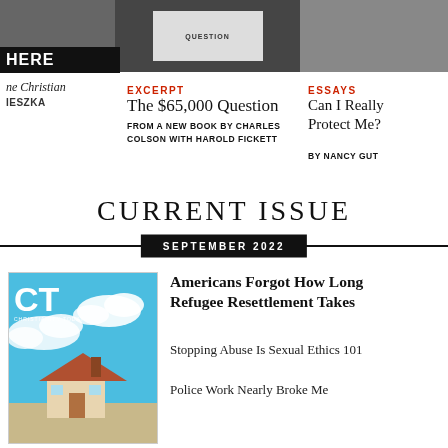[Figure (photo): Top banner photos showing three article images including a book/question and another cover]
ne Christian
IESZKA
HERE
EXCERPT
The $65,000 Question
FROM A NEW BOOK BY CHARLES COLSON WITH HAROLD FICKETT
ESSAYS
Can I Really Protect Me?
BY NANCY GUT
CURRENT ISSUE
SEPTEMBER 2022
[Figure (photo): Christianity Today magazine cover for September 2022 showing a house with a blue sky and clouds]
Americans Forgot How Long Refugee Resettlement Takes
Stopping Abuse Is Sexual Ethics 101
Police Work Nearly Broke Me